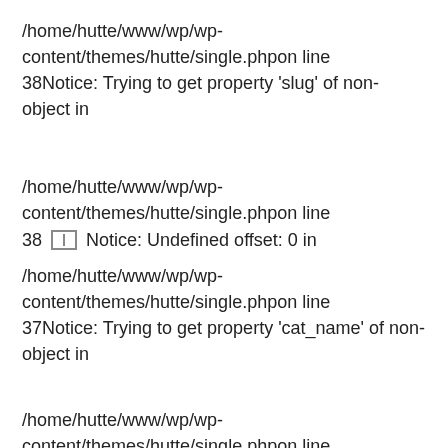/home/hutte/www/wp/wp-content/themes/hutte/single.phpon line 38Notice: Trying to get property 'slug' of non-object in
/home/hutte/www/wp/wp-content/themes/hutte/single.phpon line 38 □□□ Notice: Undefined offset: 0 in
/home/hutte/www/wp/wp-content/themes/hutte/single.phpon line 37Notice: Trying to get property 'cat_name' of non-object in
/home/hutte/www/wp/wp-content/themes/hutte/single.phpon line 37Notice: Undefined offset: 0 in
/home/hutte/www/wp/wp-content/themes/hutte/single.phpon line 38Notice: Trying to get property 'slug' of non-object in